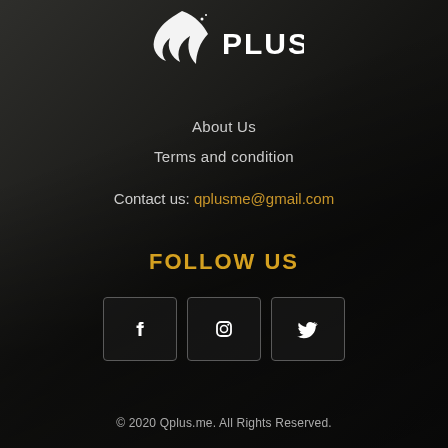[Figure (logo): Qplus logo — white bird/flame icon with word PLUS in white bold letters]
About Us
Terms and condition
Contact us: qplusme@gmail.com
FOLLOW US
[Figure (infographic): Three social media icon buttons in rounded rectangles: Facebook (f), Instagram (camera), Twitter (bird)]
© 2020 Qplus.me. All Rights Reserved.